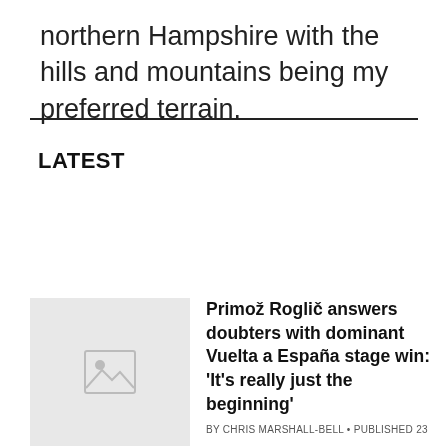northern Hampshire with the hills and mountains being my preferred terrain.
LATEST
[Figure (photo): Placeholder image thumbnail with mountain/landscape icon]
Primož Roglič answers doubters with dominant Vuelta a España stage win: 'It's really just the beginning'
BY CHRIS MARSHALL-BELL • PUBLISHED 23